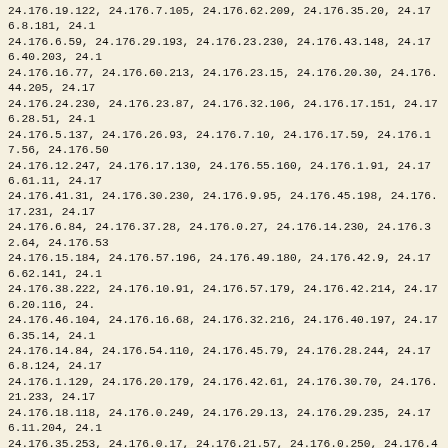24.176.19.122, 24.176.7.105, 24.176.62.209, 24.176.35.20, 24.176.8.181, 24.1 24.176.6.59, 24.176.29.193, 24.176.23.230, 24.176.43.148, 24.176.40.203, 24.1 24.176.16.77, 24.176.60.213, 24.176.23.15, 24.176.20.30, 24.176.44.205, 24.17 24.176.24.230, 24.176.23.87, 24.176.32.106, 24.176.17.151, 24.176.28.51, 24.1 24.176.5.137, 24.176.26.93, 24.176.7.10, 24.176.17.59, 24.176.17.56, 24.176.50 24.176.12.247, 24.176.17.130, 24.176.55.160, 24.176.1.91, 24.176.61.11, 24.17 24.176.41.31, 24.176.30.230, 24.176.9.95, 24.176.45.198, 24.176.17.231, 24.17 24.176.6.84, 24.176.37.28, 24.176.0.27, 24.176.14.230, 24.176.32.64, 24.176.53 24.176.15.184, 24.176.57.196, 24.176.49.180, 24.176.42.9, 24.176.62.141, 24.1 24.176.38.222, 24.176.10.91, 24.176.57.179, 24.176.42.214, 24.176.20.116, 24. 24.176.46.104, 24.176.16.68, 24.176.32.216, 24.176.40.197, 24.176.35.14, 24.1 24.176.14.84, 24.176.54.110, 24.176.45.79, 24.176.28.244, 24.176.8.124, 24.17 24.176.1.129, 24.176.20.179, 24.176.42.61, 24.176.30.70, 24.176.21.233, 24.17 24.176.18.118, 24.176.0.249, 24.176.29.13, 24.176.29.235, 24.176.11.204, 24.1 24.176.35.253, 24.176.0.17, 24.176.21.57, 24.176.0.250, 24.176.40.124, 24.176 24.176.47.247, 24.176.37.93, 24.176.16.72, 24.176.31.206, 24.176.38.81, 24.17 24.176.10.65, 24.176.10.85, 24.176.15.157, 24.176.10.189, 24.176.0.215, 24.17 24.176.4.148, 24.176.14.123, 24.176.39.210, 24.176.25.92, 24.176.52.176, 24.1 24.176.50.230, 24.176.31.70, 24.176.18.93, 24.176.39.138, 24.176.47.3, 24.176 24.176.51.178, 24.176.33.27, 24.176.53.252, 24.176.19.54, 24.176.32.224, 24.1 24.176.9.132, 24.176.27.43, 24.176.49.63, 24.176.44.180, 24.176.28.76, 24.176 24.176.44.140, 24.176.21.158, 24.176.28.208, 24.176.48.85, 24.176.16.230, 24. 24.176.57.151, 24.176.26.244, 24.176.17.53, 24.176.38.135, 24.176.63.212, 24. 24.176.38.188, 24.176.33.115, 24.176.45.42, 24.176.42.76, 24.176.48.254, 24.1 24.176.4.186, 24.176.24.252, 24.176.41.210, 24.176.52.118, 24.176.54.107, 24. 24.176.19.63, 24.176.1.204, 24.176.59.157, 24.176.27.253, 24.176.42.121, 24.1 24.176.12.119, 24.176.56.244, 24.176.6.217, 24.176.52.18, 24.176.11.79, 24.17 24.176.43.138, 24.176.19.185, 24.176.4.246, 24.176.38.196, 24.176.22.64, 24.1 24.176.41.230, 24.176.43.51, 24.176.0.95, 24.176.47.29, 24.176.46.213, 24.176 24.176.32.107, 24.176.50.183, 24.176.23.212, 24.176.3.78, 24.176.25.48, 24.17 24.176.42.99, 24.176.63.143, 24.176.59.108, 24.176.15.144, 24.176.52.73, 24.1 24.176.46.0, 24.176.5.134, 24.176.51.65, 24.176.56.199, 24.176.48.137, 24.176 24.176.10.226, 24.176.16.53, 24.176.27.0, 24.176.1.64, 24.176.20.49, 24.176